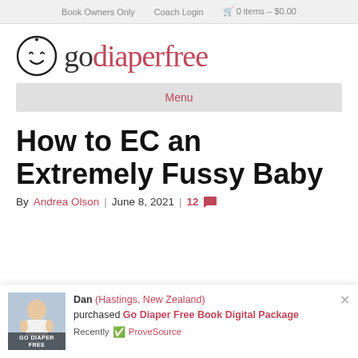Book Owners Only  Coach Login  🛒 0 items – $0.00
[Figure (logo): Go Diaper Free logo with smiley baby face icon and text 'godiaperfree' in dark/pink colors]
Menu
How to EC an Extremely Fussy Baby
By Andrea Olson | June 8, 2021 | 12 💬
Dan (Hastings, New Zealand) purchased Go Diaper Free Book Digital Package Recently ✅ ProveSource